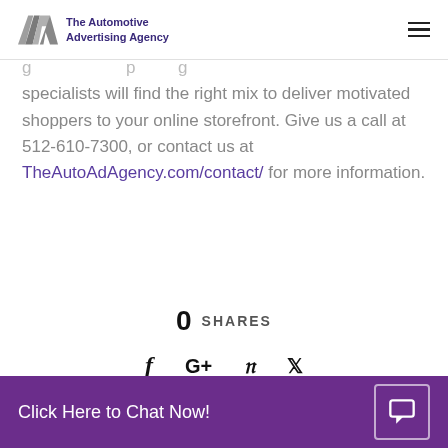The Automotive Advertising Agency
specialists will find the right mix to deliver motivated shoppers to your online storefront. Give us a call at 512-610-7300, or contact us at TheAutoAdAgency.com/contact/ for more information.
0 SHARES
[Figure (other): Social media share icons: Facebook, Google+, Pinterest, Twitter]
Click Here to Chat Now!